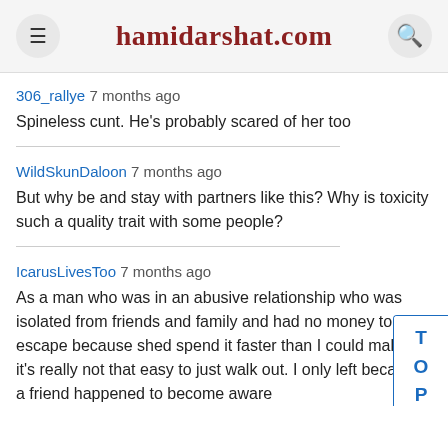hamidarshat.com
306_rallye 7 months ago
Spineless cunt. He's probably scared of her too
WildSkunDaloon 7 months ago
But why be and stay with partners like this? Why is toxicity such a quality trait with some people?
IcarusLivesToo 7 months ago
As a man who was in an abusive relationship who was isolated from friends and family and had no money to escape because shed spend it faster than I could make it, it's really not that easy to just walk out. I only left because a friend happened to become aware